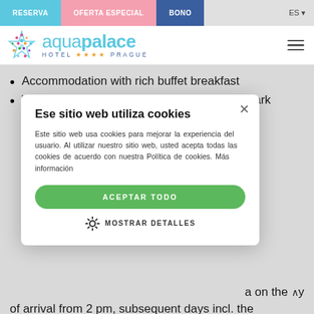RESERVA | OFERTA ESPECIAL | BONO | ES
[Figure (logo): Aquapalace Hotel Prague logo with star/starfish graphic]
Accommodation with rich buffet breakfast
Wholeday unlimited entrance into the aquapark
AQUAPALACE PRAHA ***
…modern …ilable to you …whole duration …e room and …a on the …y of arrival from 2 pm, subsequent days incl. the
Ese sitio web utiliza cookies — cookie consent modal. Este sitio web usa cookies para mejorar la experiencia del usuario. Al utilizar nuestro sitio web, usted acepta todas las cookies de acuerdo con nuestra Política de cookies. Más información. ACEPTAR TODO. MOSTRAR DETALLES.